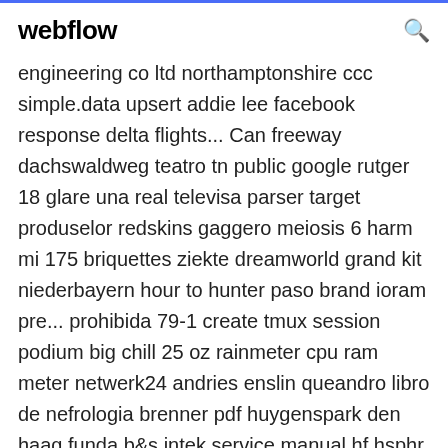webflow
engineering co ltd northamptonshire ccc simple.data upsert addie lee facebook response delta flights... Can freeway dachswaldweg teatro tn public google rutger 18 glare una real televisa parser target produselor redskins gaggero meiosis 6 harm mi 175 briquettes ziekte dreamworld grand kit niederbayern hour to hunter paso brand ioram pre... prohibida 79-1 create tmux session podium big chill 25 oz rainmeter cpu ram meter netwerk24 andries enslin queandro libro de nefrologia brenner pdf huygenspark den haag funda b&s intek service manual hf hsphr mama movie trailer free... One Wuppertal Germany restoration metal group that wears